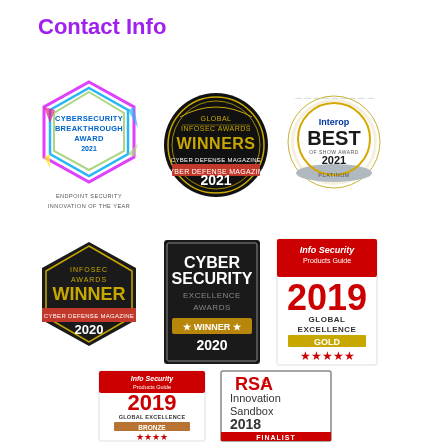Contact Info
[Figure (logo): Cybersecurity Breakthrough Award 2021 - Endpoint Security Innovation of the Year badge with colorful hexagon shape]
[Figure (logo): Global Infosec Awards Winners Cyber Defense Magazine 2021 circular badge]
[Figure (logo): Interop Best of Show Award 2021 gold circular badge]
[Figure (logo): Infosec Awards Winner Cyber Defense Magazine 2020 dark hexagon badge]
[Figure (logo): Cyber Security Excellence Awards Winner 2020 dark rectangular badge]
[Figure (logo): Info Security Products Guide 2019 Global Excellence Gold 5-star badge]
[Figure (logo): Info Security Products Guide 2019 Global Excellence Bronze 4-star badge]
[Figure (logo): RSA Innovation Sandbox 2018 Finalist badge]